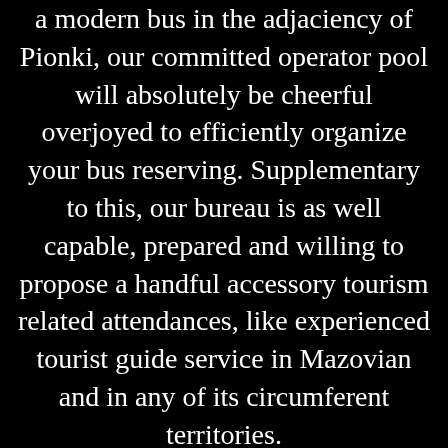a modern bus in the adjaciency of Pionki, our committed operator pool will absolutely be cheerful overjoyed to efficiently organize your bus reserving. Supplementary to this, our bureau is as well capable, prepared and willing to propose a handful accessory tourism related attendances, like experienced tourist guide service in Mazovian and in any of its circumferent territories.
Charter first-class minibuses or prime microcoaches in Mazovian
Our professional operator pool will be happy to offer individual minivan